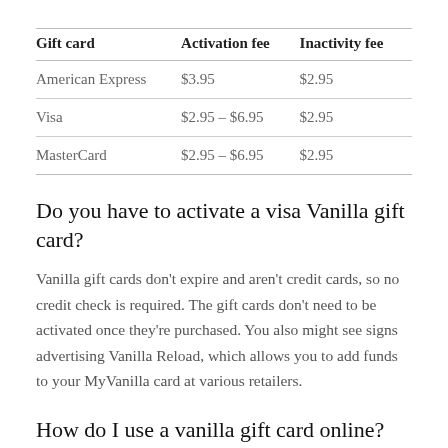| Gift card | Activation fee | Inactivity fee |
| --- | --- | --- |
| American Express | $3.95 | $2.95 |
| Visa | $2.95 – $6.95 | $2.95 |
| MasterCard | $2.95 – $6.95 | $2.95 |
Do you have to activate a visa Vanilla gift card?
Vanilla gift cards don't expire and aren't credit cards, so no credit check is required. The gift cards don't need to be activated once they're purchased. You also might see signs advertising Vanilla Reload, which allows you to add funds to your MyVanilla card at various retailers.
How do I use a vanilla gift card online?